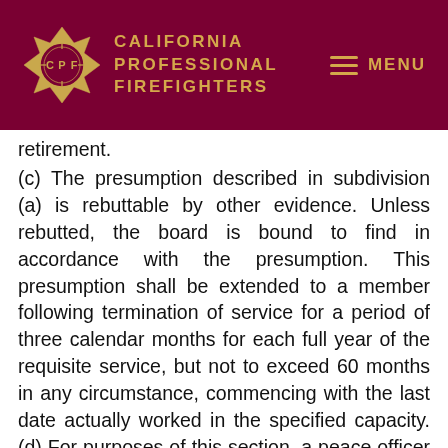California Professional Firefighters
retirement.
(c) The presumption described in subdivision (a) is rebuttable by other evidence. Unless rebutted, the board is bound to find in accordance with the presumption. This presumption shall be extended to a member following termination of service for a period of three calendar months for each full year of the requisite service, but not to exceed 60 months in any circumstance, commencing with the last date actually worked in the specified capacity. (d) For purposes of this section, a peace officer member or firefighter member, as described in subdivision (a), does not include a member whose principal duties are clerical or otherwise